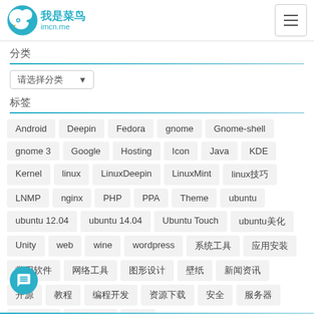我是菜鸟 imcn.me
分类
请选择分类 (dropdown)
标签
Android
Deepin
Fedora
gnome
Gnome-shell
gnome 3
Google
Hosting
Icon
Java
KDE
Kernel
linux
LinuxDeepin
LinuxMint
linux技巧
LNMP
nginx
PHP
PPA
Theme
ubuntu
ubuntu 12.04
ubuntu 14.04
Ubuntu Touch
ubuntu美化
Unity
web
wine
wordpress
系统工具
应用安装
常用软件
网络工具
图形设计
壁纸
新闻资讯
开源
教程
编程开发
资源下载
安全
服务器
网站运营
更多分类
技巧